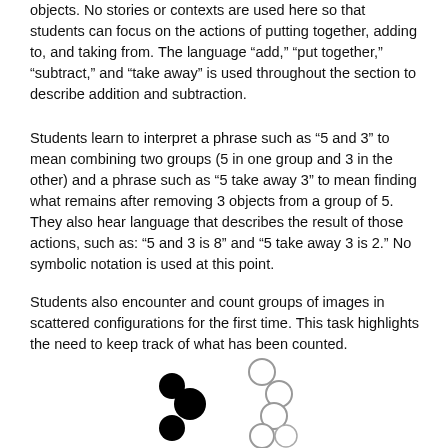objects. No stories or contexts are used here so that students can focus on the actions of putting together, adding to, and taking from. The language “add,” “put together,” “subtract,” and “take away” is used throughout the section to describe addition and subtraction.
Students learn to interpret a phrase such as “5 and 3” to mean combining two groups (5 in one group and 3 in the other) and a phrase such as “5 take away 3” to mean finding what remains after removing 3 objects from a group of 5. They also hear language that describes the result of those actions, such as: “5 and 3 is 8” and “5 take away 3 is 2.” No symbolic notation is used at this point.
Students also encounter and count groups of images in scattered configurations for the first time. This task highlights the need to keep track of what has been counted.
[Figure (illustration): Scattered configuration of circles: three filled black circles on the left side and five unfilled (outline) circles on the right side, arranged in a scattered pattern.]